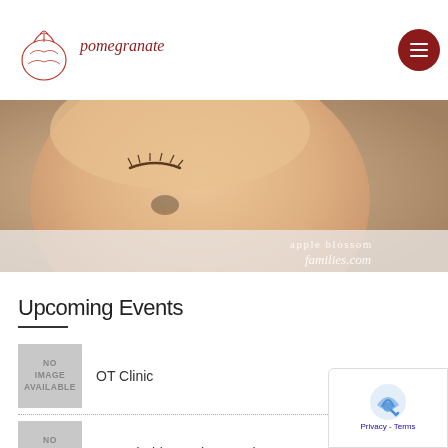pomegranate
[Figure (photo): Close-up photo of a baby's face looking down, soft focus, with 'apple blossom families.com' watermark text in the bottom right]
Upcoming Events
OT Clinic
Hypnobabies Make-Up Class
Pom Event